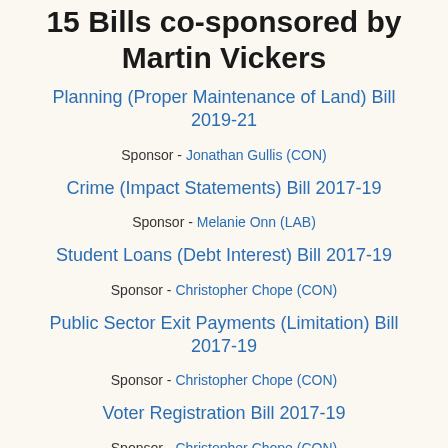15 Bills co-sponsored by Martin Vickers
Planning (Proper Maintenance of Land) Bill 2019-21 — Sponsor - Jonathan Gullis (CON)
Crime (Impact Statements) Bill 2017-19 — Sponsor - Melanie Onn (LAB)
Student Loans (Debt Interest) Bill 2017-19 — Sponsor - Christopher Chope (CON)
Public Sector Exit Payments (Limitation) Bill 2017-19 — Sponsor - Christopher Chope (CON)
Voter Registration Bill 2017-19 — Sponsor - Christopher Chope (CON)
BBC Licence Fee (Civil Penalty) Bill 2017-19